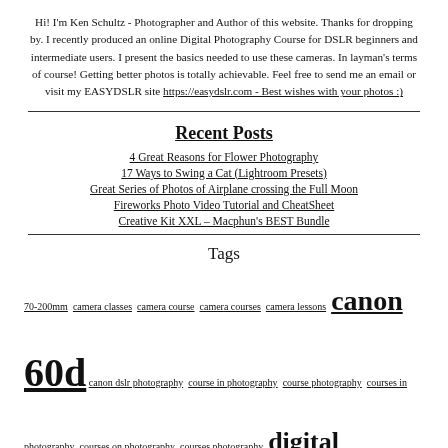Hi! I'm Ken Schultz - Photographer and Author of this website. Thanks for dropping by. I recently produced an online Digital Photography Course for DSLR beginners and intermediate users. I present the basics needed to use these cameras. In layman's terms of course! Getting better photos is totally achievable. Feel free to send me an email or visit my EASYDSLR site https://easydslr.com - Best wishes with your photos :)
Recent Posts
4 Great Reasons for Flower Photography
17 Ways to Swing a Cat (Lightroom Presets)
Great Series of Photos of Airplane crossing the Full Moon
Fireworks Photo Video Tutorial and CheatSheet
Creative Kit XXL – Macphun's BEST Bundle
Tags
70-200mm camera classes camera course camera courses camera lessons canon 60d canon dslr photography course in photography course photography courses in photography courses on photography courses photography digital photography